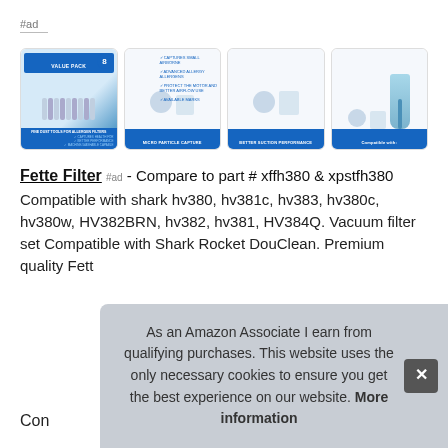#ad
[Figure (photo): Four product images of Fette Filter vacuum filter packs showing value pack, micro particle capture, better suction performance, and compatibility with Shark Rocket.]
Fette Filter #ad - Compare to part # xffh380 & xpstfh380 Compatible with shark hv380, hv381c, hv383, hv380c, hv380w, HV382BRN, hv382, hv381, HV384Q. Vacuum filter set Compatible with Shark Rocket DouClean. Premium quality Fett
As an Amazon Associate I earn from qualifying purchases. This website uses the only necessary cookies to ensure you get the best experience on our website. More information
Con